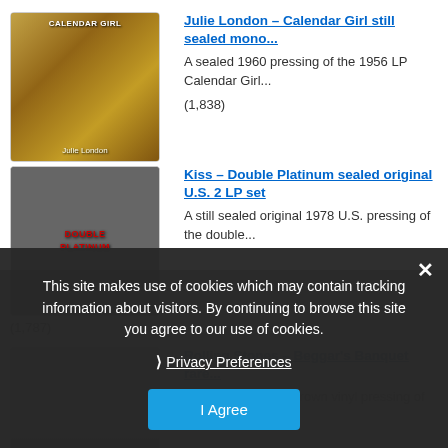Julie London – Calendar Girl still sealed mono… A sealed 1960 pressing of the 1956 LP Calendar Girl… (1,838)
Kiss – Double Platinum sealed original U.S. 2 LP set A still sealed original 1978 U.S. pressing of the double… (1,787)
Rolling Stones – Beggar's Banquet rare… A rare mispressed brown vinyl pressing of Beggar's…
This site makes use of cookies which may contain tracking information about visitors. By continuing to browse this site you agree to our use of cookies.
❯ Privacy Preferences
I Agree